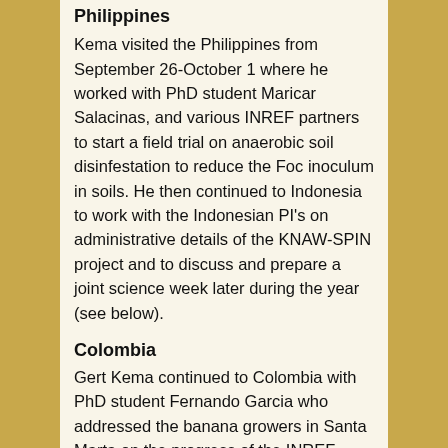Philippines
Kema visited the Philippines from September 26-October 1 where he worked with PhD student Maricar Salacinas, and various INREF partners to start a field trial on anaerobic soil disinfestation to reduce the Foc inoculum in soils. He then continued to Indonesia to work with the Indonesian PI's on administrative details of the KNAW-SPIN project and to discuss and prepare a joint science week later during the year (see below).
Colombia
Gert Kema continued to Colombia with PhD student Fernando Garcia who addressed the banana growers in Santa Marta on the progress of the INREF program and to discuss current and future collaborative projects with the national banana corporation (AUGURA), the banana producers of Santa Marta (ASBAMA) and the National Agricultural Institute (ICA).
Mr. Fernando García-Bastidas MSc, Colombian PhD student in the INFEF program at Wageningen University